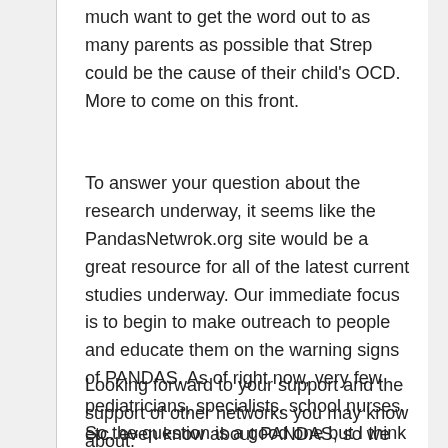much want to get the word out to as many parents as possible that Strep could be the cause of their child's OCD. More to come on this front.
To answer your question about the research underway, it seems like the PandasNetwrok.org site would be a great resource for all of the latest current studies underway. Our immediate focus is to begin to make outreach to people and educate them on the warning signs of PANDAS. As of right now, very few pediatricians, specialists, school nurses, etc. even know about PANDAS, so we have a big task ahead of us.
Looking forward to your support and the support of other networks you may know about."
So the question is a good one but I think all...